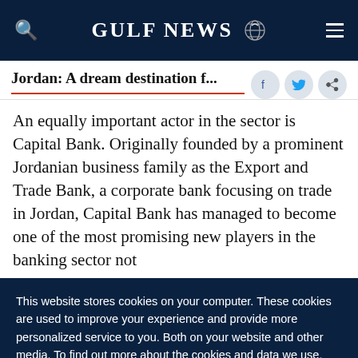GULF NEWS
Jordan: A dream destination f...
An equally important actor in the sector is Capital Bank. Originally founded by a prominent Jordanian business family as the Export and Trade Bank, a corporate bank focusing on trade in Jordan, Capital Bank has managed to become one of the most promising new players in the banking sector not
This website stores cookies on your computer. These cookies are used to improve your experience and provide more personalized service to you. Both on your website and other media. To find out more about the cookies and data we use, please check out our Privacy Policy.
OK